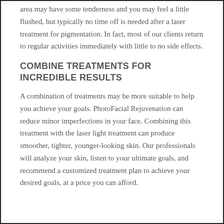area may have some tenderness and you may feel a little flushed, but typically no time off is needed after a laser treatment for pigmentation. In fact, most of our clients return to regular activities immediately with little to no side effects.
COMBINE TREATMENTS FOR INCREDIBLE RESULTS
A combination of treatments may be more suitable to help you achieve your goals. PhotoFacial Rejuvenation can reduce minor imperfections in your face. Combining this treatment with the laser light treatment can produce smoother, tighter, younger-looking skin. Our professionals will analyze your skin, listen to your ultimate goals, and recommend a customized treatment plan to achieve your desired goals, at a price you can afford.